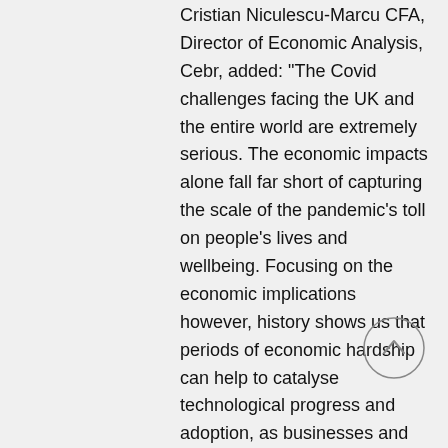Cristian Niculescu-Marcu CFA, Director of Economic Analysis, Cebr, added: “The Covid challenges facing the UK and the entire world are extremely serious. The economic impacts alone fall far short of capturing the scale of the pandemic’s toll on people’s lives and wellbeing. Focusing on the economic implications however, history shows us that periods of economic hardship can help to catalyse technological progress and adoption, as businesses and other stakeholders seek to adapt to new realities. Within this research we have examined the potential economic impact of a wave of digital transformation, driven by the rollout of new ways of working and connecting. This could create an economic high road over the coming decades, helping the UK